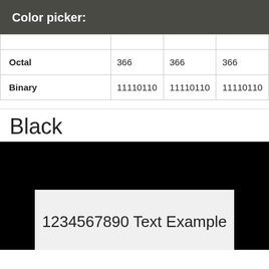Color picker:
| Octal | 366 | 366 | 366 |
| Binary | 11110110 | 11110110 | 11110110 |
Black
[Figure (illustration): Black background color demo box with an inner light gray rectangle containing the text '1234567890 Text Example']